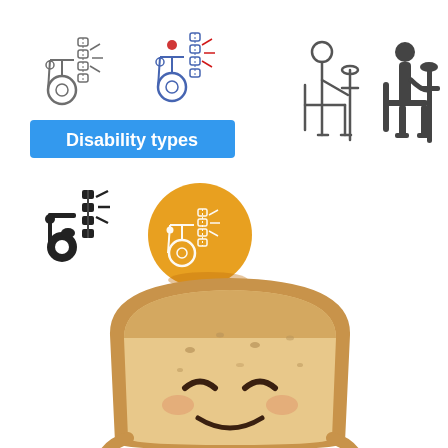[Figure (illustration): Collage of disability icons: top-left shows wheelchair and spine icons (outline and color versions), a blue banner with text 'Disability types', a silhouette version of wheelchair+spine icon, a golden circle badge with wheelchair+spine icon, two outline icons of a person seated in a chair with crutches (light and dark versions), and bottom half shows a cartoon smiling bread slice character.]